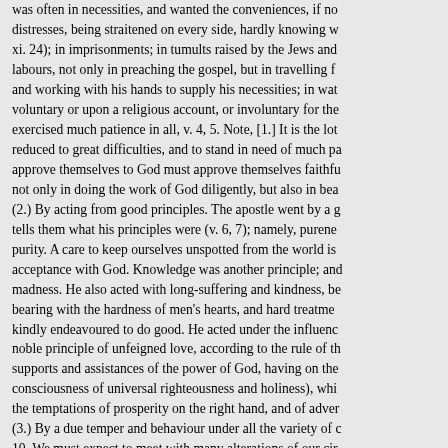was often in necessities, and wanted the conveniences, if no distresses, being straitened on every side, hardly knowing w xi. 24); in imprisonments; in tumults raised by the Jews and labours, not only in preaching the gospel, but in travelling f and working with his hands to supply his necessities; in wat voluntary or upon a religious account, or involuntary for the exercised much patience in all, v. 4, 5. Note, [1.] It is the lot reduced to great difficulties, and to stand in need of much pa approve themselves to God must approve themselves faithfu not only in doing the work of God diligently, but also in bea (2.) By acting from good principles. The apostle went by a g tells them what his principles were (v. 6, 7); namely, purene purity. A care to keep ourselves unspotted from the world is acceptance with God. Knowledge was another principle; and madness. He also acted with long-suffering and kindness, be bearing with the hardness of men's hearts, and hard treatme kindly endeavoured to do good. He acted under the influenc noble principle of unfeigned love, according to the rule of th supports and assistances of the power of God, having on the consciousness of universal righteousness and holiness), whi the temptations of prosperity on the right hand, and of adver (3.) By a due temper and behaviour under all the variety of c 10. We must expect to meet with many alterations of our cir this world; and it will be a great evidence of our integrity if mind, and duly behave ourselves, under them all. The apost